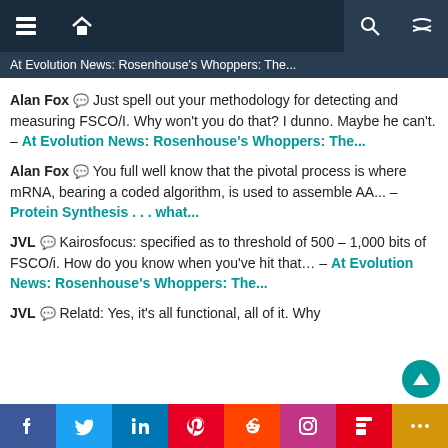Navigation bar with home, menu, search, shuffle icons
At Evolution News: Rosenhouse's Whoppers: The...
Alan Fox 💬 Just spell out your methodology for detecting and measuring FSCO/I. Why won't you do that? I dunno. Maybe he can't. – At Evolution News: Rosenhouse's Whoppers: The...
Alan Fox 💬 You full well know that the pivotal process is where mRNA, bearing a coded algorithm, is used to assemble AA... – Protein Synthesis . . . what...
JVL 💬 Kairosfocus: specified as to threshold of 500 – 1,000 bits of FSCO/i. How do you know when you've hit that... – At Evolution News: Rosenhouse's Whoppers: The...
JVL 💬 Relatd: Yes, it's all functional, all of it. Why
Social share bar: Facebook, Twitter, LinkedIn, Pinterest, Reddit, Instagram, Flipboard, More